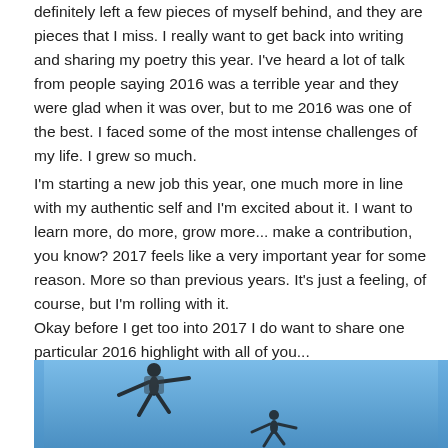definitely left a few pieces of myself behind, and they are pieces that I miss. I really want to get back into writing and sharing my poetry this year. I've heard a lot of talk from people saying 2016 was a terrible year and they were glad when it was over, but to me 2016 was one of the best. I faced some of the most intense challenges of my life. I grew so much.
I'm starting a new job this year, one much more in line with my authentic self and I'm excited about it. I want to learn more, do more, grow more... make a contribution, you know? 2017 feels like a very important year for some reason. More so than previous years. It's just a feeling, of course, but I'm rolling with it.
Okay before I get too into 2017 I do want to share one particular 2016 highlight with all of you...
[Figure (photo): Photo showing silhouettes of people (appears to be skydivers or people in mid-air) against a bright blue sky background. The bottom portion of the image is visible, cropped.]